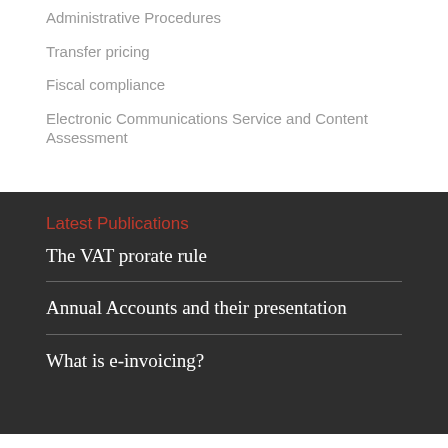Administrative Procedures
Transfer pricing
Fiscal compliance
Electronic Communications Service and Content Assessment
Latest Publications
The VAT prorate rule
Annual Accounts and their presentation
What is e-invoicing?